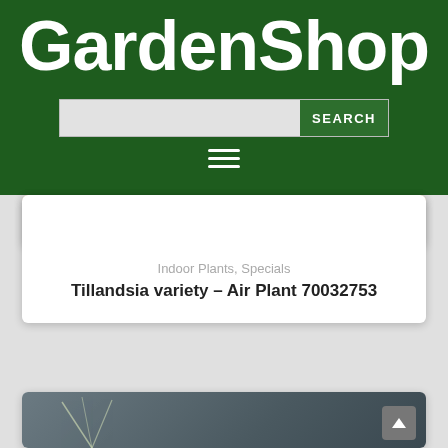GardenShop
SEARCH
[Figure (screenshot): Partial product image of a Tillandsia air plant on a sandy/brown surface]
Indoor Plants, Specials
Tillandsia variety – Air Plant 70032753
[Figure (photo): Partial product image showing a plant with thin leaves against a dark gray wood-grain background]